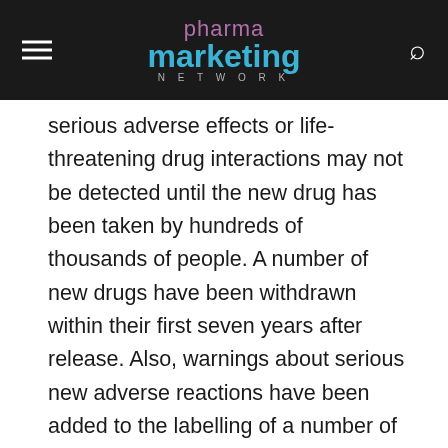pharma marketing network
serious adverse effects or life-threatening drug interactions may not be detected until the new drug has been taken by hundreds of thousands of people. A number of new drugs have been withdrawn within their first seven years after release. Also, warnings about serious new adverse reactions have been added to the labelling of a number of drugs, or new drug interactions have been detected, usually within the first seven years after a drug’s release.”
And here’s an auto snippet of Wolfe’s presentation that includes the 7-year Rule and other “solutions”: